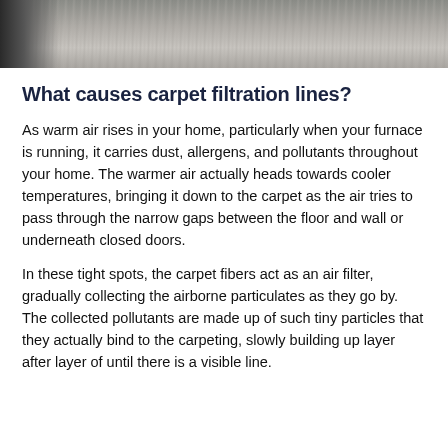[Figure (photo): Close-up photograph of carpet texture showing gray/beige fibers, with a dark edge visible on the left side]
What causes carpet filtration lines?
As warm air rises in your home, particularly when your furnace is running, it carries dust, allergens, and pollutants throughout your home. The warmer air actually heads towards cooler temperatures, bringing it down to the carpet as the air tries to pass through the narrow gaps between the floor and wall or underneath closed doors.
In these tight spots, the carpet fibers act as an air filter, gradually collecting the airborne particulates as they go by. The collected pollutants are made up of such tiny particles that they actually bind to the carpeting, slowly building up layer after layer of until there is a visible line.